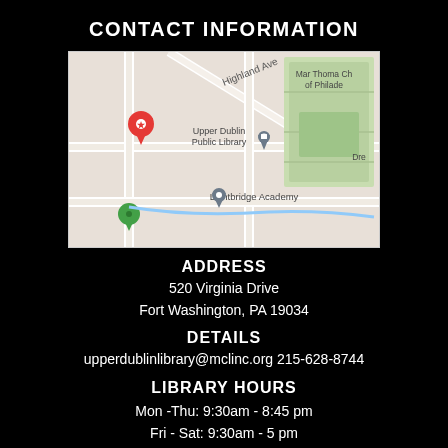CONTACT INFORMATION
[Figure (map): Google Maps screenshot showing Upper Dublin Public Library location on Virginia Drive, Fort Washington PA, with surrounding streets and landmarks including Lightbridge Academy and Mar Thoma Church of Philadelphia.]
ADDRESS
520 Virginia Drive
Fort Washington, PA 19034
DETAILS
upperdublinlibrary@mclinc.org 215-628-8744
LIBRARY HOURS
Mon -Thu: 9:30am - 8:45 pm
Fri - Sat: 9:30am - 5 pm
Sun: 12p - 5p